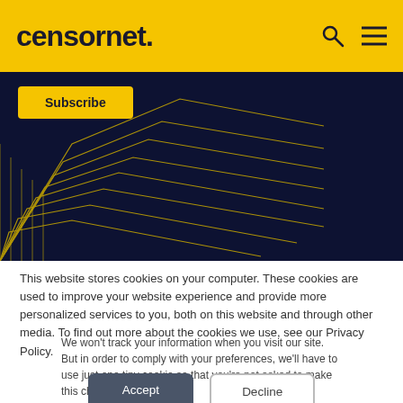censornet.
[Figure (screenshot): Dark navy hero banner with geometric yellow line pattern and a yellow Subscribe button in top-left corner]
This website stores cookies on your computer. These cookies are used to improve your website experience and provide more personalized services to you, both on this website and through other media. To find out more about the cookies we use, see our Privacy Policy.
We won't track your information when you visit our site. But in order to comply with your preferences, we'll have to use just one tiny cookie so that you're not asked to make this choice again.
Accept | Decline